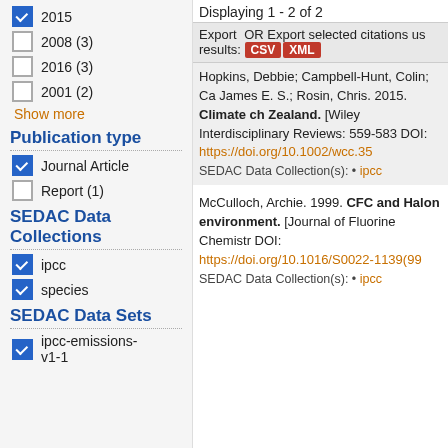2015 (checked)
2008 (3) (unchecked)
2016 (3) (unchecked)
2001 (2) (unchecked)
Show more
Publication type
Journal Article (checked)
Report (1) (unchecked)
SEDAC Data Collections
ipcc (checked)
species (checked)
SEDAC Data Sets
ipcc-emissions-v1-1 (checked)
Displaying 1 - 2 of 2
Export OR Export selected citations us results: CSV XML
Hopkins, Debbie; Campbell-Hunt, Colin; Ca James E. S.; Rosin, Chris. 2015. Climate ch Zealand. [Wiley Interdisciplinary Reviews: 559-583 DOI: https://doi.org/10.1002/wcc.35 SEDAC Data Collection(s): • ipcc
McCulloch, Archie. 1999. CFC and Halon environment. [Journal of Fluorine Chemistr DOI: https://doi.org/10.1016/S0022-1139(99 SEDAC Data Collection(s): • ipcc